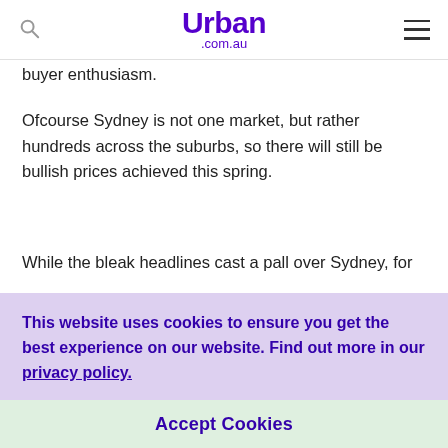Urban .com.au
buyer enthusiasm.
Ofcourse Sydney is not one market, but rather hundreds across the suburbs, so there will still be bullish prices achieved this spring.
While the bleak headlines cast a pall over Sydney, for
This website uses cookies to ensure you get the best experience on our website. Find out more in our privacy policy.
Accept Cookies